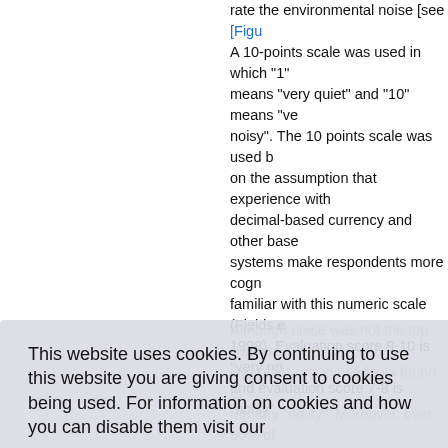rate the environmental noise [see [Figure... A 10-points scale was used in which "1" means "very quiet" and "10" means "very noisy". The 10 points scale was used based on the assumption that experience with decimal-based currency and other base-10 systems make respondents more cognitively familiar with this numeric scale (Fields et al., 1998). Evaluation score 9-10 is "very noisy" and evaluation score 7-8 is "noisy".
Although noise was not the top concern... respondents found the territory "noisy". Moreover, over 60% of respondents thought that more could be done by the Government to improve the environmental noise. It is interesting to note that the European Commission also reported that generally action by their Member States on environmental noise had a lower priority than that taken to solve other problems such as air and water pollution despite the fact that opinion pe...
This website uses cookies. By continuing to use this website you are giving consent to cookies being used. For information on cookies and how you can disable them visit our Privacy and Cookie Policy.
AGREE & PROCEED